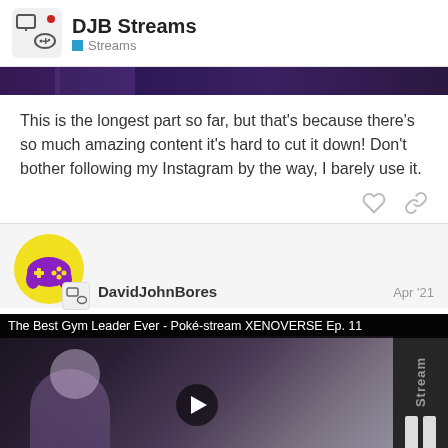DJB Streams — Streams
[Figure (screenshot): Dark screenshot strip from a gaming stream, purple/dark tones]
This is the longest part so far, but that's because there's so much amazing content it's hard to cut it down! Don't bother following my Instagram by the way, I barely use it.
DavidJohnBores  Apr '21
[Figure (screenshot): YouTube video thumbnail for 'The Best Gym Leader Ever - Poké-stream XENOVERSE Ep. 11' showing animated character and pause overlay]
8 / 56